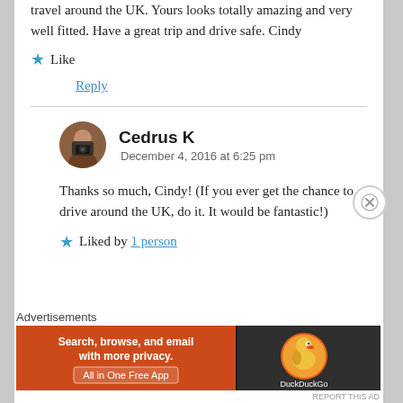travel around the UK. Yours looks totally amazing and very well fitted. Have a great trip and drive safe. Cindy
★ Like
Reply
Cedrus K
December 4, 2016 at 6:25 pm
Thanks so much, Cindy! (If you ever get the chance to drive around the UK, do it. It would be fantastic!)
★ Liked by 1 person
Advertisements
[Figure (infographic): DuckDuckGo advertisement banner: orange and dark background, text 'Search, browse, and email with more privacy. All in One Free App' with DuckDuckGo logo]